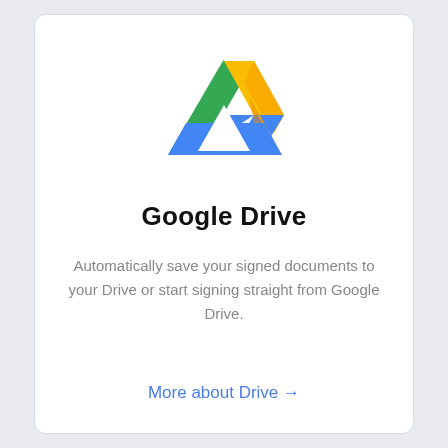[Figure (logo): Google Drive logo: a triangular shape made of three colored segments — green on the left, yellow/gold on the upper right, and blue at the bottom.]
Google Drive
Automatically save your signed documents to your Drive or start signing straight from Google Drive.
More about Drive →